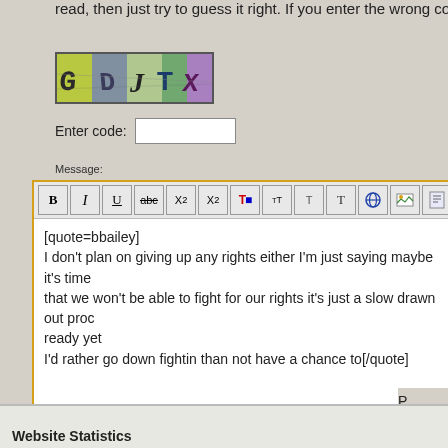read, then just try to guess it right. If you enter the wrong code, a new ima
[Figure (screenshot): CAPTCHA image showing distorted letters G D J T X on a colorful background]
Enter code:
Message:
[Figure (screenshot): Rich text editor toolbar with buttons: Bold, Italic, Underline, Strikethrough, Subscript, Superscript, Font color, Font size up, Font size down, Text, Globe/link, Image, File, List]
[quote=bbailey]
I don't plan on giving up any rights either I'm just saying maybe it's time
that we won't be able to fight for our rights it's just a slow drawn out proc
ready yet
I'd rather go down fightin than not have a chance to[/quote]
Website Statistics